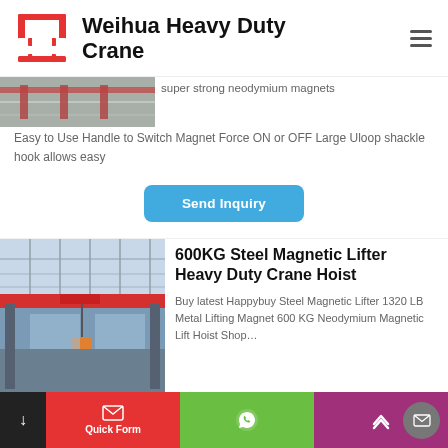[Figure (logo): Weihua Heavy Duty Crane logo with red crane icon and bold black text]
[Figure (photo): Partial photo of industrial crane equipment, gray/metallic tones]
super strong neodymium magnets Easy to Use Handle to Switch Magnet Force ON or OFF Large Uloop shackle hook allows easy
Send Inquiry
[Figure (photo): Photo of red overhead bridge crane inside industrial warehouse with steel roof structure]
600KG Steel Magnetic Lifter Heavy Duty Crane Hoist
Buy latest Happybuy Steel Magnetic Lifter 1320 LB Metal Lifting Magnet 600 KG Neodymium Magnetic Lift Hoist Shop…
Quick Form | WhatsApp | Scroll up | Email